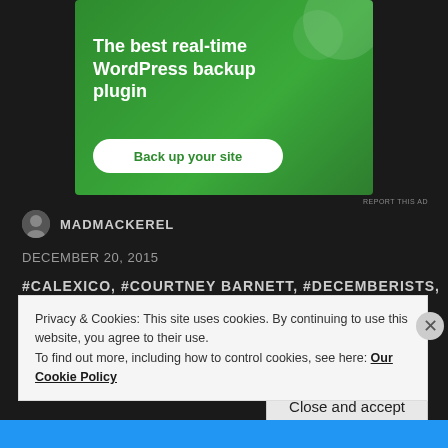[Figure (illustration): Green advertisement banner for WordPress backup plugin with text 'The best real-time WordPress backup plugin' and a button 'Back up your site']
REPORT THIS AD
MADMACKEREL
DECEMBER 20, 2015
#CALEXICO, #COURTNEY BARNETT, #DECEMBERISTS, #DR
Privacy & Cookies: This site uses cookies. By continuing to use this website, you agree to their use.
To find out more, including how to control cookies, see here: Our Cookie Policy
Close and accept